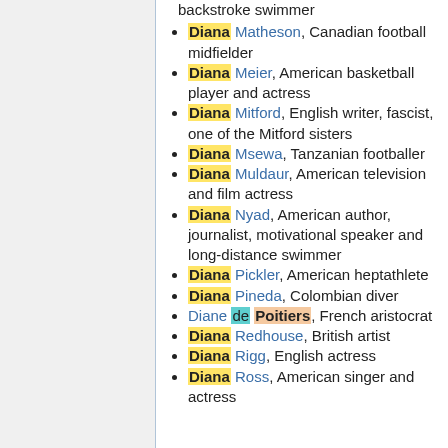Diana Matheson, Canadian football midfielder
Diana Meier, American basketball player and actress
Diana Mitford, English writer, fascist, one of the Mitford sisters
Diana Msewa, Tanzanian footballer
Diana Muldaur, American television and film actress
Diana Nyad, American author, journalist, motivational speaker and long-distance swimmer
Diana Pickler, American heptathlete
Diana Pineda, Colombian diver
Diane de Poitiers, French aristocrat
Diana Redhouse, British artist
Diana Rigg, English actress
Diana Ross, American singer and actress